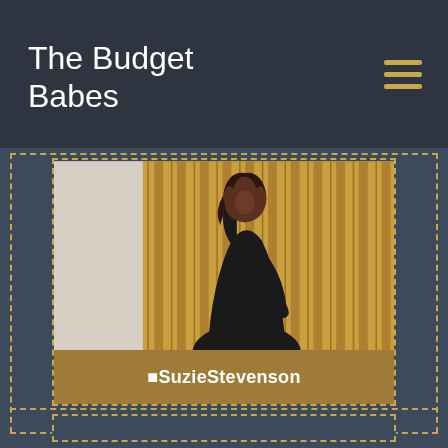The Budget Babes
[Figure (photo): A woman in a black dress posing against a wooden slat wall background, with a gold name bar overlay showing '@SuzieStevenson']
@SuzieStevenson